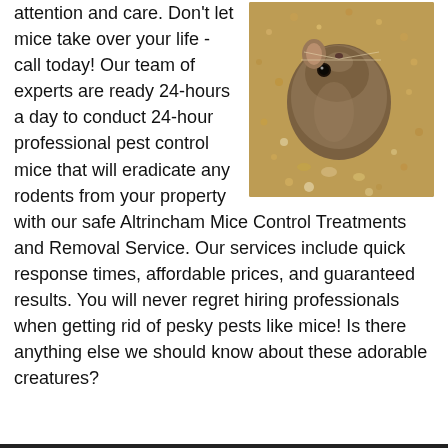attention and care. Don't let mice take over your life - call today! Our team of experts are ready 24-hours a day to conduct 24-hour professional pest control mice that will eradicate any rodents from your property with our safe Altrincham Mice Control Treatments and Removal Service. Our services include quick response times, affordable prices, and guaranteed results. You will never regret hiring professionals when getting rid of pesky pests like mice! Is there anything else we should know about these adorable creatures?
[Figure (photo): Close-up photo of a small brown mouse or rodent nestled in sandy/gravelly ground material]